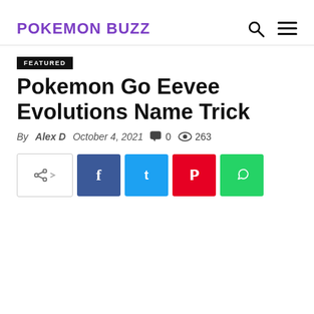POKEMON BUZZ
FEATURED
Pokemon Go Eevee Evolutions Name Trick
By Alex D  October 4, 2021  0  263